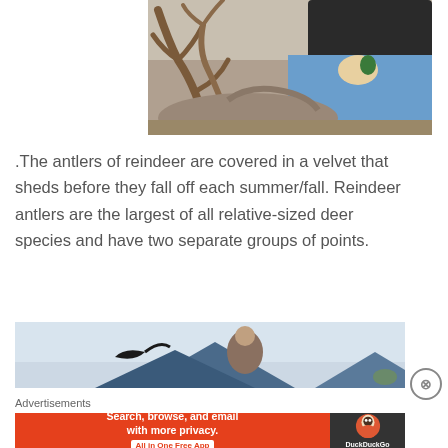[Figure (photo): Person sitting and feeding or touching a reindeer with large antlers on sandy ground]
.The antlers of reindeer are covered in a velvet that sheds before they fall off each summer/fall. Reindeer antlers are the largest of all relative-sized deer species and have two separate groups of points.
[Figure (photo): Person standing outdoors with mountains in the background, partially visible at bottom of page]
Advertisements
[Figure (screenshot): DuckDuckGo advertisement banner: Search, browse, and email with more privacy. All in One Free App]